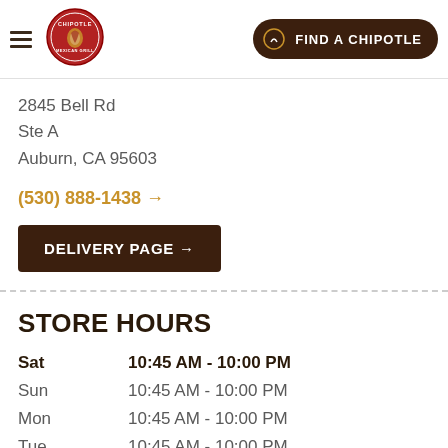[Figure (logo): Chipotle Mexican Grill logo — circular red badge with illustrated pepper and text]
FIND A CHIPOTLE
2845 Bell Rd
Ste A
Auburn, CA 95603
(530) 888-1438 →
DELIVERY PAGE →
STORE HOURS
| Day | Hours |
| --- | --- |
| Sat | 10:45 AM - 10:00 PM |
| Sun | 10:45 AM - 10:00 PM |
| Mon | 10:45 AM - 10:00 PM |
| Tue | 10:45 AM - 10:00 PM |
| Wed | 10:45 AM - 10:00 PM |